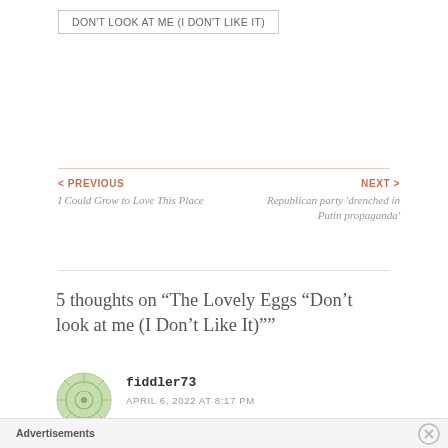DON'T LOOK AT ME (I DON'T LIKE IT)
< PREVIOUS
I Could Grow to Love This Place
NEXT >
Republican party 'drenched in Putin propaganda'
5 thoughts on “The Lovely Eggs “Don’t look at me (I Don’t Like It)””
fiddler73
APRIL 6, 2022 AT 8:17 PM
Advertisements